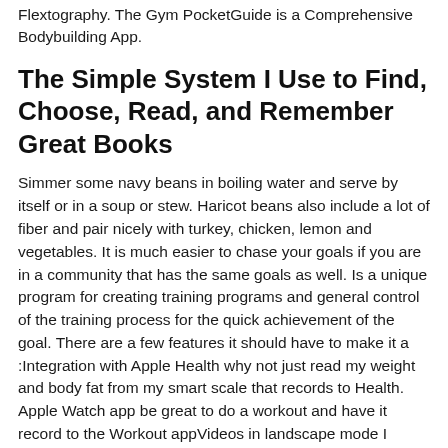Flextography. The Gym PocketGuide is a Comprehensive Bodybuilding App.
The Simple System I Use to Find, Choose, Read, and Remember Great Books
Simmer some navy beans in boiling water and serve by itself or in a soup or stew. Haricot beans also include a lot of fiber and pair nicely with turkey, chicken, lemon and vegetables. It is much easier to chase your goals if you are in a community that has the same goals as well. Is a unique program for creating training programs and general control of the training process for the quick achievement of the goal. There are a few features it should have to make it a :Integration with Apple Health why not just read my weight and body fat from my smart scale that records to Health. Apple Watch app be great to do a workout and have it record to the Workout appVideos in landscape mode I rotate my phone but still get the portrait mode, ughCustomizable rest timer some plans use talk about different rest periods between sets but it looks like there is just a global